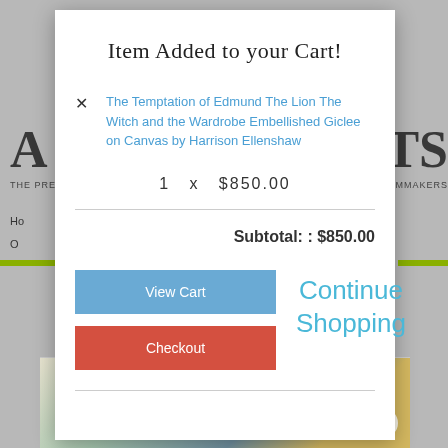Item Added to your Cart!
The Temptation of Edmund The Lion The Witch and the Wardrobe Embellished Giclee on Canvas by Harrison Ellenshaw
1  x  $850.00
Subtotal: : $850.00
View Cart
Checkout
Continue Shopping